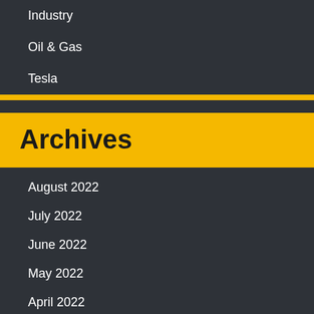Industry
Oil & Gas
Tesla
Archives
August 2022
July 2022
June 2022
May 2022
April 2022
March 2022
February 2022